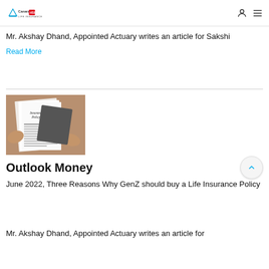Canara HSBC Life Insurance
Mr. Akshay Dhand, Appointed Actuary writes an article for Sakshi
Read More
[Figure (photo): Person holding an Insurance Policy document with papers and a clipboard in background]
Outlook Money
June 2022, Three Reasons Why GenZ should buy a Life Insurance Policy
Mr. Akshay Dhand, Appointed Actuary writes an article for